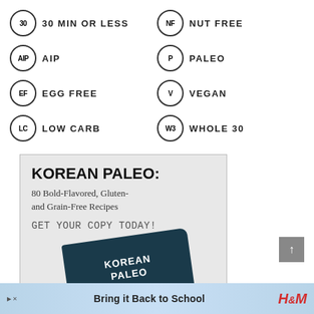30  30 MIN OR LESS
NF  NUT FREE
AIP  AIP
P  PALEO
EF  EGG FREE
V  VEGAN
LC  LOW CARB
W3  WHOLE 30
[Figure (infographic): Advertisement box for Korean Paleo book with title 'KOREAN PALEO:', subtitle '80 Bold-Flavored, Gluten- and Grain-Free Recipes', call to action 'GET YOUR COPY TODAY!', and book cover image]
[Figure (infographic): H&M advertisement banner: 'Bring it Back to School' with H&M logo and arrow icons]